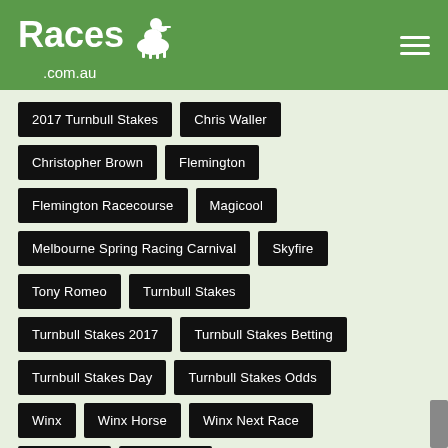Races.com.au
2017 Turnbull Stakes
Chris Waller
Christopher Brown
Flemington
Flemington Racecourse
Magicool
Melbourne Spring Racing Carnival
Skyfire
Tony Romeo
Turnbull Stakes
Turnbull Stakes 2017
Turnbull Stakes Betting
Turnbull Stakes Day
Turnbull Stakes Odds
Winx
Winx Horse
Winx Next Race
Winx Odds
Winx Race
Follow